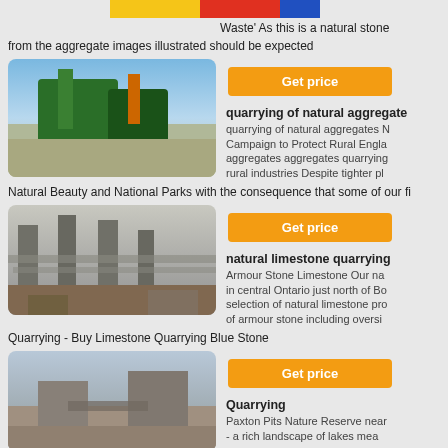[Figure (photo): Colorful logo/banner with yellow, red, and blue colors at top]
Waste' As this is a natural stone from the aggregate images illustrated should be expected
[Figure (photo): Green quarrying/aggregate screening machine outdoors with gravel and blue sky]
Get price
quarrying of natural aggregate
quarrying of natural aggregates N Campaign to Protect Rural Engla aggregates aggregates quarrying rural industries Despite tighter pl
Natural Beauty and National Parks with the consequence that some of our fi
[Figure (photo): Industrial limestone quarrying facility with large conveyor structures]
Get price
natural limestone quarrying
Armour Stone Limestone Our na in central Ontario just north of Bo selection of natural limestone pro of armour stone including oversi
Quarrying - Buy Limestone Quarrying Blue Stone
[Figure (photo): Quarrying site with machinery and stone piles]
Get price
Quarrying
Paxton Pits Nature Reserve near - a rich landscape of lakes mea